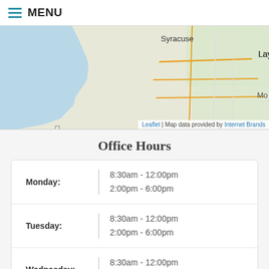MENU
[Figure (map): Map showing Syracuse, Layton, Kaysville, and surrounding areas in Utah with roads and water features. Interstate 15 visible. Caption: Leaflet | Map data provided by Internet Brands]
Office Hours
| Day | Hours |
| --- | --- |
| Monday: | 8:30am-12:00pm
2:00pm-6:00pm |
| Tuesday: | 8:30am-12:00pm
2:00pm-6:00pm |
| Wednesday: | 8:30am-12:00pm
2:00pm-6:00pm |
| Thursday: | 8:30am-12:00pm (partially visible) |